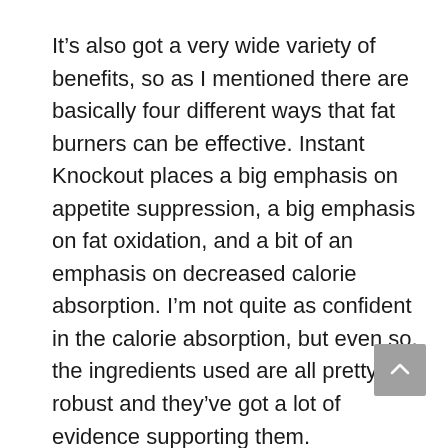It’s also got a very wide variety of benefits, so as I mentioned there are basically four different ways that fat burners can be effective. Instant Knockout places a big emphasis on appetite suppression, a big emphasis on fat oxidation, and a bit of an emphasis on decreased calorie absorption. I’m not quite as confident in the calorie absorption, but even so, the ingredients used are all pretty robust and they’ve got a lot of evidence supporting them.